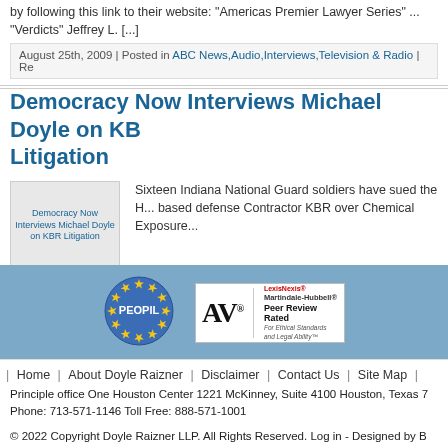by following this link to their website: "Americas Premier Lawyer Series" ... "Verdicts" Jeffrey L. [...]
August 25th, 2009 | Posted in ABC News,Audio,Interviews,Television & Radio | Re
Democracy Now Interviews Michael Doyle on KBR Litigation
[Figure (photo): Democracy Now Interviews Michael Doyle on KBR Litigation thumbnail image]
Sixteen Indiana National Guard soldiers have sued the H... based defense Contractor KBR over Chemical Exposure...
August 18th, 2009 | Posted in Democracy Now,Interviews,National Media,T... Radio,Video & Media | Re
[Figure (logo): PEOPIL badge logo - blue circle with yellow stars and PEOPIL text]
[Figure (logo): AV LexisNexis Martindale-Hubbell Peer Review Rated badge]
| Home | About Doyle Raizner | Disclaimer | Contact Us | Site Map |
Principle office One Houston Center 1221 McKinney, Suite 4100 Houston, Texas 7... Phone: 713-571-1146 Toll Free: 888-571-1001
© 2022 Copyright Doyle Raizner LLP. All Rights Reserved. Log in - Designed by B